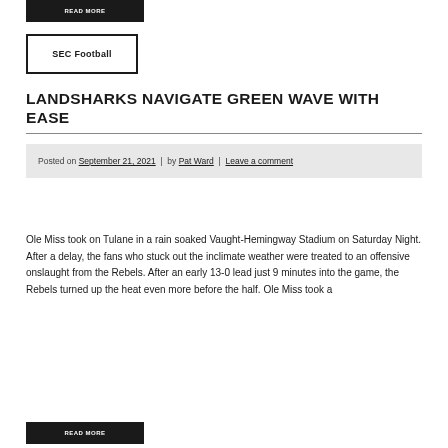READ MORE
SEC Football
LANDSHARKS NAVIGATE GREEN WAVE WITH EASE
Posted on September 21, 2021 | by Pat Ward | Leave a comment
Ole Miss took on Tulane in a rain soaked Vaught-Hemingway Stadium on Saturday Night. After a delay, the fans who stuck out the inclimate weather were treated to an offensive onslaught from the Rebels. After an early 13-0 lead just 9 minutes into the game, the Rebels turned up the heat even more before the half. Ole Miss took a
READ MORE